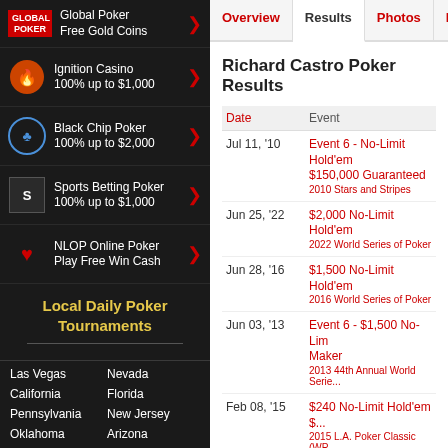Global Poker Free Gold Coins
Ignition Casino 100% up to $1,000
Black Chip Poker 100% up to $2,000
Sports Betting Poker 100% up to $1,000
NLOP Online Poker Play Free Win Cash
Local Daily Poker Tournaments
Las Vegas  Nevada
California  Florida
Pennsylvania  New Jersey
Oklahoma  Arizona
Ohio  Mississippi
Richard Castro Poker Results
| Date | Event |
| --- | --- |
| Jul 11, '10 | Event 6 - No-Limit Hold'em $150,000 Guaranteed
2010 Stars and Stripes |
| Jun 25, '22 | $2,000 No-Limit Hold'em
2022 World Series of Poker |
| Jun 28, '16 | $1,500 No-Limit Hold'em
2016 World Series of Poker |
| Jun 03, '13 | Event 6 - $1,500 No-Limit Hold'em Maker
2013 44th Annual World Series |
| Feb 08, '15 | $240 No-Limit Hold'em $...
2015 L.A. Poker Classic (WPT) |
| Jun 17, '12 | Event 30 - $1,500 Deuce-to-Seven Lowball
2012 43rd Annual World Series |